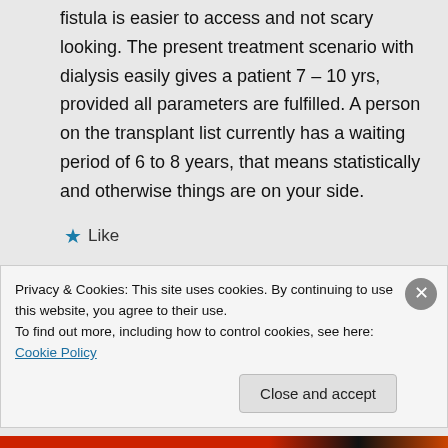fistula is easier to access and not scary looking. The present treatment scenario with dialysis easily gives a patient 7 – 10 yrs, provided all parameters are fulfilled. A person on the transplant list currently has a waiting period of 6 to 8 years, that means statistically and otherwise things are on your side.
★ Like
↳ Reply
Privacy & Cookies: This site uses cookies. By continuing to use this website, you agree to their use.
To find out more, including how to control cookies, see here: Cookie Policy
Close and accept